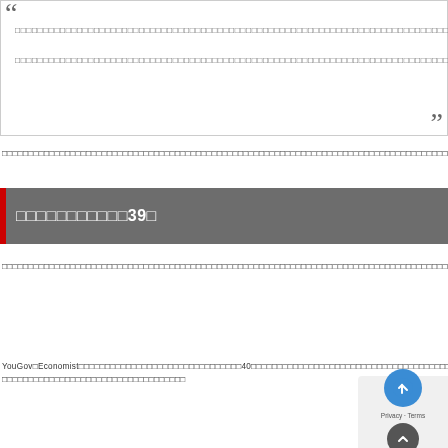□□□□□□□□□□□□□□□□□□□□□□□□□□□□□□□□□□□□□□□□□□□□□□□□□□□□□□□□□□□□□□□□□□□□□□□□□□□□□□□□□□□□□□□□□□□□□□□□□□□□□□□□□□□□□□□□
□□□□□□□□□□□39□
□□□□□□□□□□□□□□□□□□□□□□□□□□□□□□□□□□□□□□□□□□□□□□□□□□□□□□□□□□□□□□□□□□□□□□□□□□□□□□□□□□□□□□□□□□□□□□□□□□□□□□□□□□□□□□□□□□□□□□□□□□□□□□□□□□□□□□□□□□□□□□□□□□□□□□□□□□□□□□□□□□□□□□□□□□□□□□□□□□□□□□□□□□□□□□□□□□□□□□□□□□□□□□□□□□□□□□□□□□□
YouGov□Economist□□□□□□□□□□□□□□□□□□□□□□□□□□□□□□□40□□□□□□□□□□□□□□□□□□□□□□□□□□□□□□□□□□□□□□□□□□□□